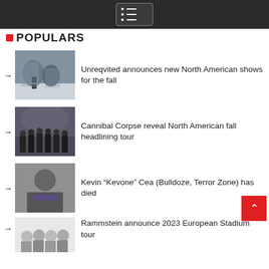Navigation menu bar
POPULARS
Unreqvited announces new North American shows for the fall
Cannibal Corpse reveal North American fall headlining tour
Kevin “Kevone” Cea (Bulldoze, Terror Zone) has died
Rammstein announce 2023 European Stadium tour